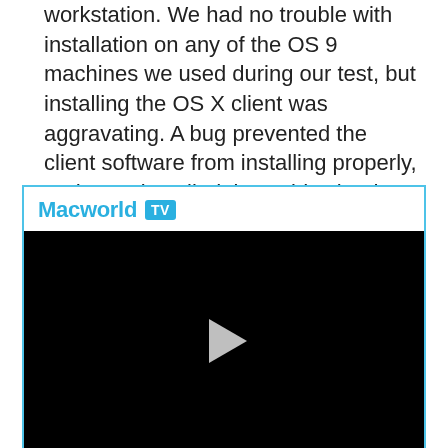workstation. We had no trouble with installation on any of the OS 9 machines we used during our test, but installing the OS X client was aggravating. A bug prevented the client software from installing properly, and once installed, it wouldn't load at start-up until we had created an additional user with administrative privileges on each OS X client.
[Figure (screenshot): Macworld TV video player with black video area showing a play button in the center]